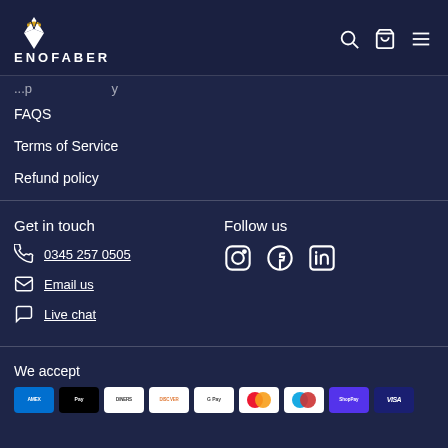ENOFABER
FAQS
Terms of Service
Refund policy
Get in touch
0345 257 0505
Email us
Live chat
Follow us
[Figure (infographic): Social media icons: Instagram, Facebook, LinkedIn]
We accept
[Figure (infographic): Payment method logos: American Express, Apple Pay, Diners Club, Discover, Google Pay, Mastercard, Maestro, ShopPay, Visa]